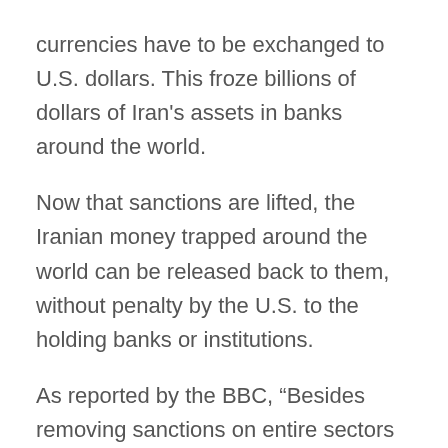currencies have to be exchanged to U.S. dollars. This froze billions of dollars of Iran’s assets in banks around the world.
Now that sanctions are lifted, the Iranian money trapped around the world can be released back to them, without penalty by the U.S. to the holding banks or institutions.
As reported by the BBC, “Besides removing sanctions on entire sectors such as banking or insurance, Iranian entities or individuals who were blacklisted because of their alleged nuclear-